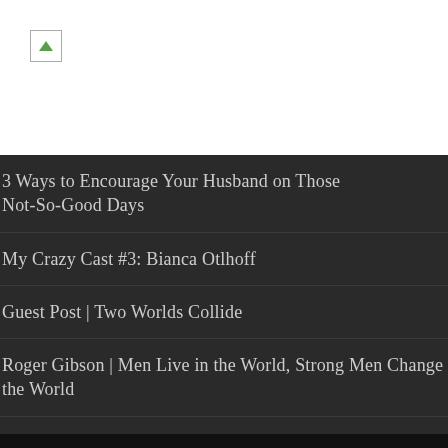[Figure (logo): Small logo image placeholder in white header area]
3 Ways to Encourage Your Husband on Those Not-So-Good Days
My Crazy Cast #3: Bianca Otlhoff
Guest Post | Two Worlds Collide
Roger Gibson | Men Live in the World, Strong Men Change the World
5 Ways to Live Outside Your Comfort Zone